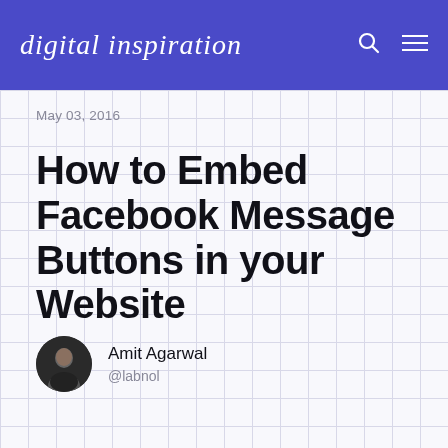digital inspiration
May 03, 2016
How to Embed Facebook Message Buttons in your Website
Amit Agarwal
@labnol